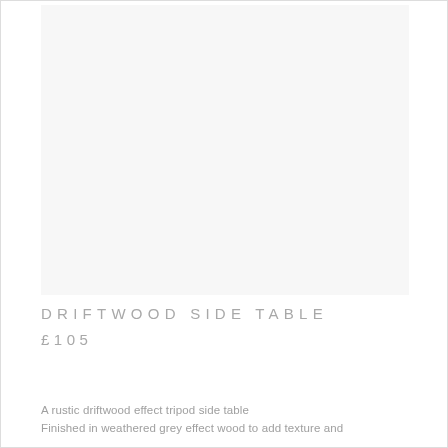[Figure (photo): Product photo area showing driftwood side table — image not rendered (blank/white area)]
DRIFTWOOD SIDE TABLE
£105
A rustic driftwood effect tripod side table
Finished in weathered grey effect wood to add texture and